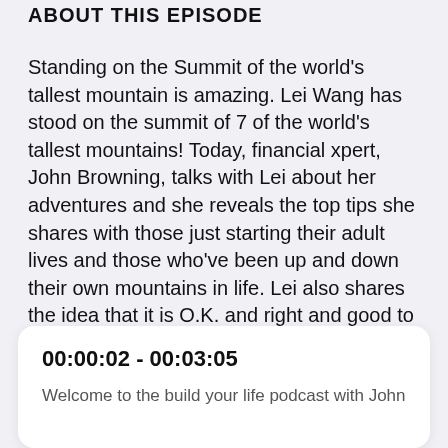ABOUT THIS EPISODE
Standing on the Summit of the world's tallest mountain is amazing. Lei Wang has stood on the summit of 7 of the world's tallest mountains! Today, financial xpert, John Browning, talks with Lei about her adventures and she reveals the top tips she shares with those just starting their adult lives and those who've been up and down their own mountains in life. Lei also shares the idea that it is O.K. and right and good to ASK FOR HELP – It makes you so much stronger. Be sure to listen in
00:00:02 - 00:03:05
Welcome to the build your life podcast with John